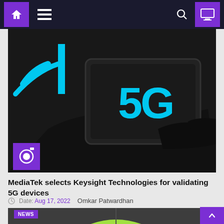Navigation bar with home, menu, search, and monitor icons
[Figure (photo): Dark silhouette of a hand holding a tablet device displaying '5G' in cyan/blue text, with 5G wireless signal icons in the background. Purple camera badge in bottom-left corner.]
MediaTek selects Keysight Technologies for validating 5G devices
Date: Aug 17, 2022   Omkar Patwardhan
[Figure (photo): Partial view of a green automotive symbol painted on asphalt, with a NEWS badge in the top-left corner.]